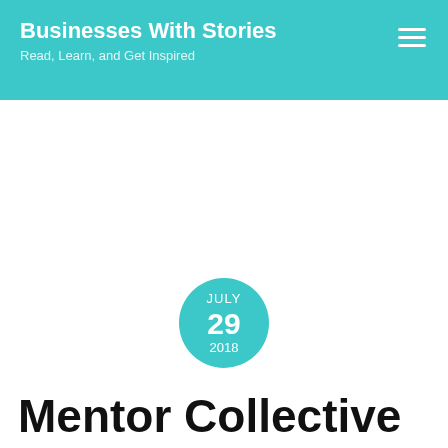Businesses With Stories
Read, Learn, and Get Inspired
JULY 29 2018
Mentor Collective